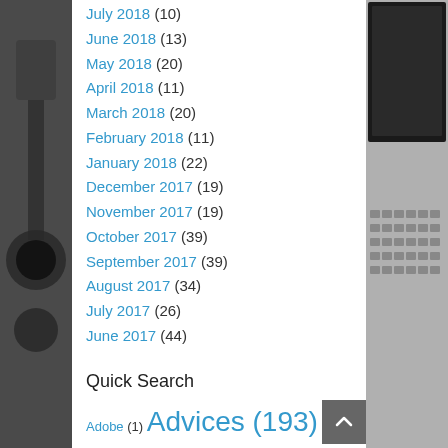[Figure (photo): Left strip photo of a dark background with what appears to be headphones or electronic device]
July 2018 (10)
June 2018 (13)
May 2018 (20)
April 2018 (11)
March 2018 (20)
February 2018 (11)
January 2018 (22)
December 2017 (19)
November 2017 (19)
October 2017 (39)
September 2017 (39)
August 2017 (34)
July 2017 (26)
June 2017 (44)
Quick Search
Adobe (1) Advices (193) AI (Artificial Intelligence) (92) Amazon (10) AMD H/W Android (52) Apple (78)
[Figure (screenshot): Right strip photo of a laptop keyboard]